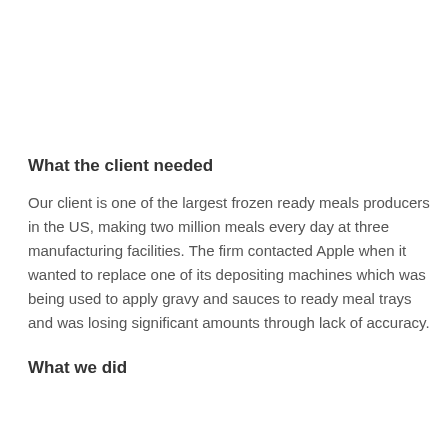What the client needed
Our client is one of the largest frozen ready meals producers in the US, making two million meals every day at three manufacturing facilities. The firm contacted Apple when it wanted to replace one of its depositing machines which was being used to apply gravy and sauces to ready meal trays and was losing significant amounts through lack of accuracy.
What we did